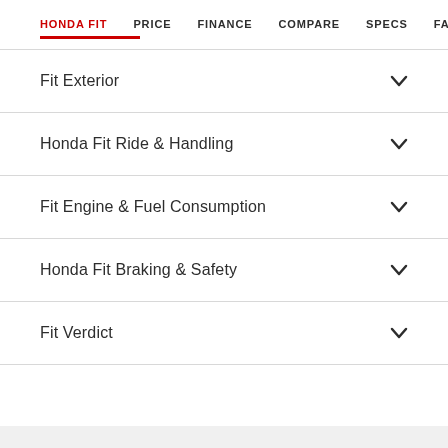HONDA FIT  PRICE  FINANCE  COMPARE  SPECS  FAQS
Fit Exterior
Honda Fit Ride & Handling
Fit Engine & Fuel Consumption
Honda Fit Braking & Safety
Fit Verdict